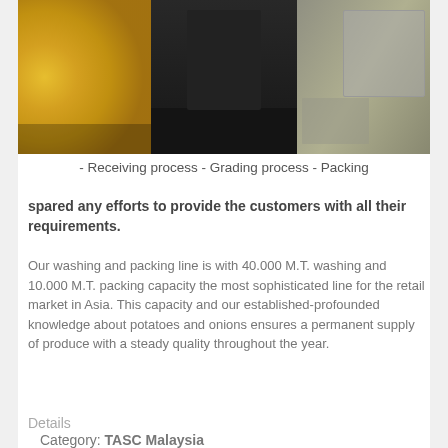[Figure (photo): Three-panel photo showing food processing facility: left panel shows yellow potatoes/produce in bulk, middle panel shows a worker in black uniform, right panel shows machinery/packing equipment]
- Receiving process - Grading process - Packing
spared any efforts to provide the customers with all their requirements.
Our washing and packing line is with 40.000 M.T. washing and 10.000 M.T. packing capacity the most sophisticated line for the retail market in Asia. This capacity and our established-profounded knowledge about potatoes and onions ensures a permanent supply of produce with a steady quality throughout the year.
Details
Category: TASC Malaysia
TASC International (Malaysia) Sdn. Bhd.
is a subsidary of TASC International Switzerland